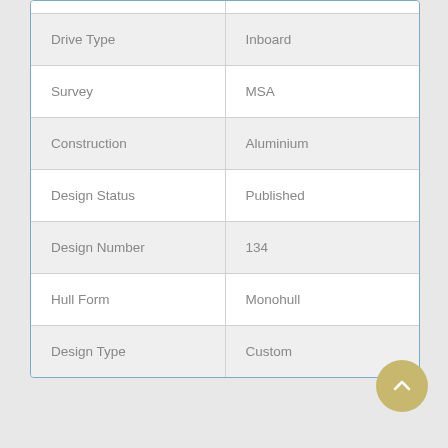| Property | Value |
| --- | --- |
| Drive Type | Inboard |
| Survey | MSA |
| Construction | Aluminium |
| Design Status | Published |
| Design Number | 134 |
| Hull Form | Monohull |
| Design Type | Custom |